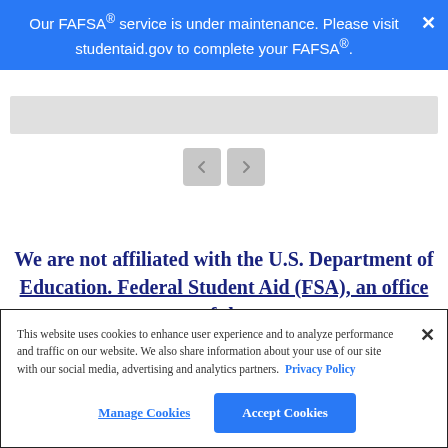Our FAFSA® service is under maintenance. Please visit studentaid.gov to complete your FAFSA®.
[Figure (screenshot): Gray horizontal rectangle representing a content/image area]
[Figure (screenshot): Navigation arrows (back and forward) for a carousel]
We are not affiliated with the U.S. Department of Education. Federal Student Aid (FSA), an office of the
This website uses cookies to enhance user experience and to analyze performance and traffic on our website. We also share information about your use of our site with our social media, advertising and analytics partners. Privacy Policy
Manage Cookies
Accept Cookies